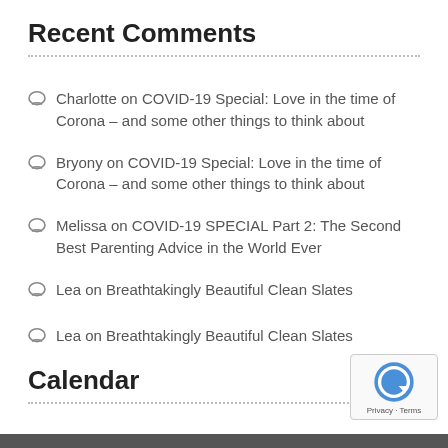Recent Comments
Charlotte on COVID-19 Special: Love in the time of Corona – and some other things to think about
Bryony on COVID-19 Special: Love in the time of Corona – and some other things to think about
Melissa on COVID-19 SPECIAL Part 2: The Second Best Parenting Advice in the World Ever
Lea on Breathtakingly Beautiful Clean Slates
Lea on Breathtakingly Beautiful Clean Slates
Calendar